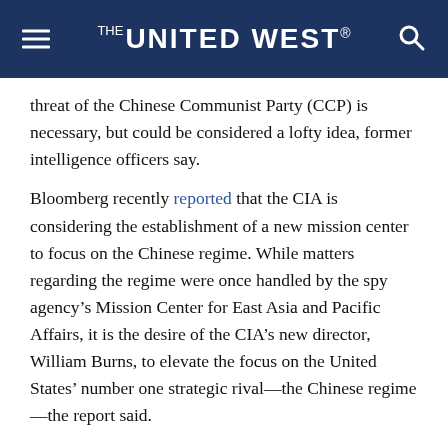THE UNITED WEST
threat of the Chinese Communist Party (CCP) is necessary, but could be considered a lofty idea, former intelligence officers say.
Bloomberg recently reported that the CIA is considering the establishment of a new mission center to focus on the Chinese regime. While matters regarding the regime were once handled by the spy agency’s Mission Center for East Asia and Pacific Affairs, it is the desire of the CIA’s new director, William Burns, to elevate the focus on the United States’ number one strategic rival—the Chinese regime—the report said.
Geopolitical and Global Reach